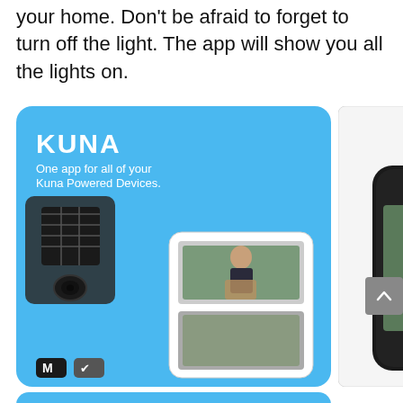your home. Don't be afraid to forget to turn off the light. The app will show you all the lights on.
[Figure (screenshot): Two smartphone app screenshots for KUNA smart home app. Left: blue background with KUNA logo and text 'One app for all of your Kuna Powered Devices', showing a smart outdoor light camera and phone screen with video feed. Right: white/dark background phone showing 'See and talk to visitors, control your lights, set automatic greetings' with a live video view of a delivery person at the door. Below left: a blue card reading 'Control settings of all lights and devices from one place.']